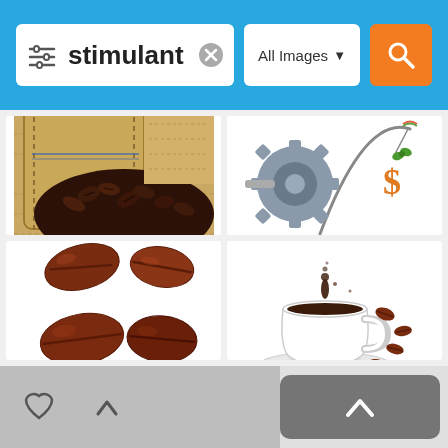[Figure (screenshot): Mobile image search interface showing search bar with query 'stimulant' and 'All Images' filter dropdown, with orange search button]
[Figure (photo): Coffee beans spilled from burlap sack on fabric background]
[Figure (illustration): Clipart of a gear/cog with a fishing rod dangling a dollar sign as bait - financial incentive concept]
[Figure (photo): Four coffee beans arranged in two pairs on white background]
[Figure (photo): White coffee cup with liquid splash and scattered coffee beans on white background]